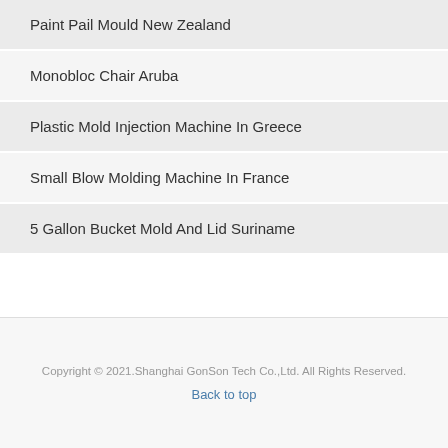Paint Pail Mould New Zealand
Monobloc Chair Aruba
Plastic Mold Injection Machine In Greece
Small Blow Molding Machine In France
5 Gallon Bucket Mold And Lid Suriname
Copyright © 2021.Shanghai GonSon Tech Co.,Ltd. All Rights Reserved.
Back to top